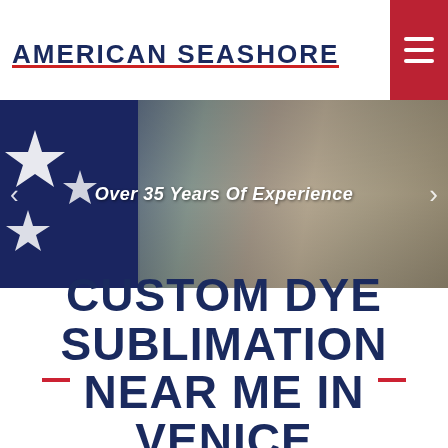AMERICAN SEASHORE
[Figure (screenshot): Hero banner image with text 'Over 35 Years Of Experience', showing American flag stars on the left and a person working with fabric/materials on the right, with left and right navigation arrows]
CUSTOM DYE SUBLIMATION NEAR ME IN VENICE